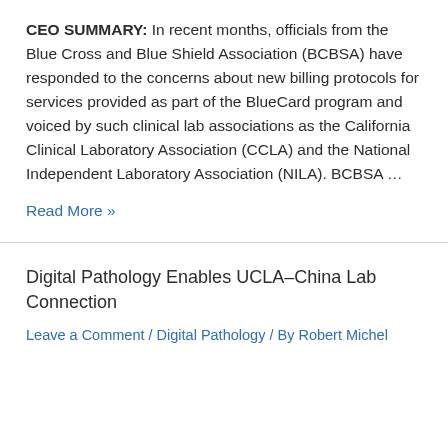CEO SUMMARY: In recent months, officials from the Blue Cross and Blue Shield Association (BCBSA) have responded to the concerns about new billing protocols for services provided as part of the BlueCard program and voiced by such clinical lab associations as the California Clinical Laboratory Association (CCLA) and the National Independent Laboratory Association (NILA). BCBSA ...
Read More »
Digital Pathology Enables UCLA–China Lab Connection
Leave a Comment / Digital Pathology / By Robert Michel